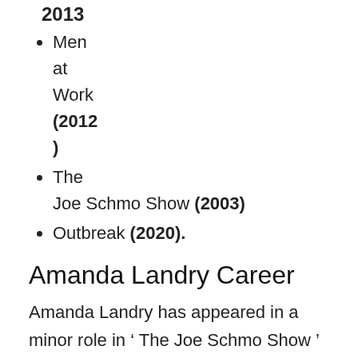2013
Men at Work (2012)
The Joe Schmo Show (2003)
Outbreak (2020).
Amanda Landry Career
Amanda Landry has appeared in a minor role in ‘ The Joe Schmo Show ’ from 2003 to 2013. She even depicted Wanda Montrose’s character in three episodes of the show’s season 3. And during the